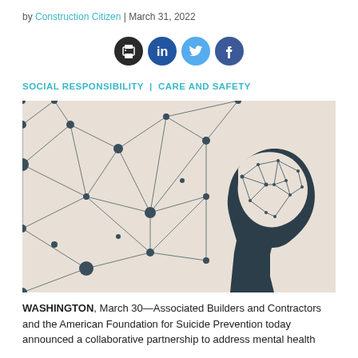by Construction Citizen | March 31, 2022
[Figure (other): Four social sharing icons: print, LinkedIn, Twitter, Facebook]
SOCIAL RESPONSIBILITY | CARE AND SAFETY
[Figure (illustration): Silhouette of a human head in profile facing right, with a network of connected nodes and lines forming an abstract brain/neural network pattern, on a beige background]
WASHINGTON, March 30—Associated Builders and Contractors and the American Foundation for Suicide Prevention today announced a collaborative partnership to address mental health